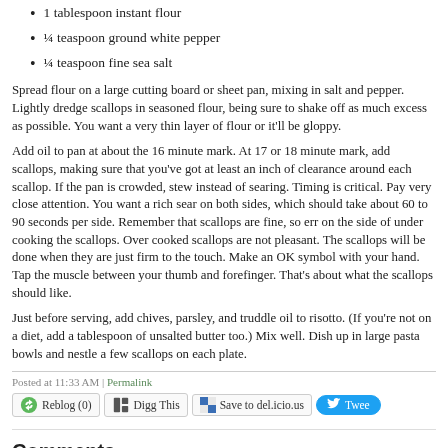1 tablespoon instant flour
¼ teaspoon ground white pepper
¼ teaspoon fine sea salt
Spread flour on a large cutting board or sheet pan, mixing in salt and pepper. Lightly dredge scallops in seasoned flour, being sure to shake off as much excess as possible. You want a very thin layer of flour or it'll be gloppy.
Add oil to pan at about the 16 minute mark. At 17 or 18 minute mark, add scallops, making sure that you've got at least an inch of clearance around each scallop. If the pan is crowded, stew instead of searing. Timing is critical. Pay very close attention. You want a rich sear on both sides, which should take about 60 to 90 seconds per side. Remember that scallops are fine, so err on the side of under cooking the scallops. Over cooked scallops are not pleasant. The scallops will be done when they are just firm to the touch. Make an OK symbol with your hand. Tap the muscle between your thumb and forefinger. That's about what the scallops should like.
Just before serving, add chives, parsley, and truddle oil to risotto. (If you're not on a diet, add a tablespoon of unsalted butter too.) Mix well. Dish up in large pasta bowls and nestle a few scallops on each plate.
Posted at 11:33 AM | Permalink
Comments